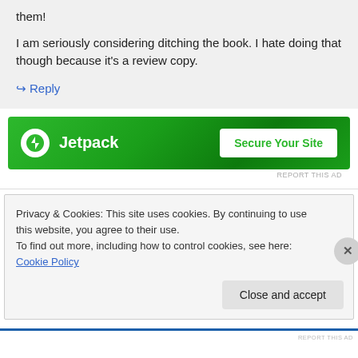them!
I am seriously considering ditching the book. I hate doing that though because it's a review copy.
↪ Reply
[Figure (infographic): Jetpack advertisement banner with green background, Jetpack logo and 'Secure Your Site' button]
REPORT THIS AD
Privacy & Cookies: This site uses cookies. By continuing to use this website, you agree to their use.
To find out more, including how to control cookies, see here: Cookie Policy
Close and accept